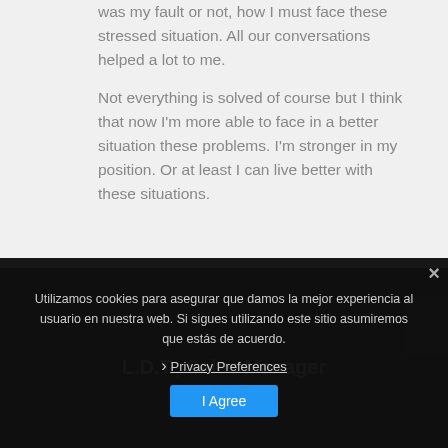was my fault or not, how I must face these stressed situation. All our conversations helped a lot to me.
Not everything is solved of course but I think that now I'm more able to face in a better situation these problems. I'm stronger in my position. Or at least I can live better with these situations.
Utilizamos cookies para asegurar que damos la mejor experiencia al usuario en nuestra web. Si sigues utilizando este sitio asumiremos que estás de acuerdo.
Privacy Preferences
I Agree
L.D.T., Sales Manager